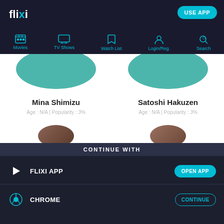flixi — USE APP
[Figure (screenshot): Navigation bar with icons: Movies, TV Shows, Watch List, Login/Reg., Search]
[Figure (illustration): Two teal circular profile image placeholders side by side]
Mina Shimizu
Age : N/A | Popularity : 3%
Satoshi Hakuzen
Age : N/A | Popularity : 3%
[Figure (photo): Two partially visible circular avatar photos at the bottom of main content]
CONTINUE WITH
FLIXI APP — OPEN APP
CHROME — CONTINUE